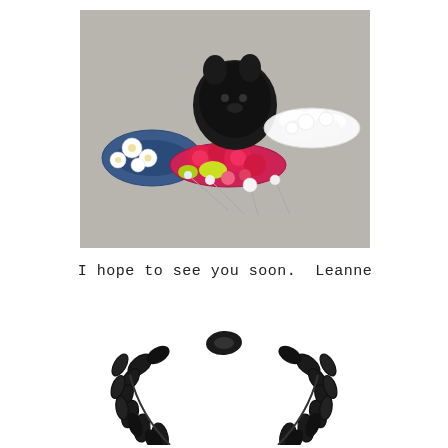[Figure (photo): A photograph showing several decorative hair accessories laid out on a grey surface. Includes a black fabric cat/animal head, a blue and white floral headband, a bright pink rose headband with yellow accents, a white feathery/lace headband, and assorted hat pins with pearl and flower tops.]
I hope to see you soon.  Leanne
[Figure (illustration): A black and white illustration of a laurel wreath, partially visible at the bottom of the page.]